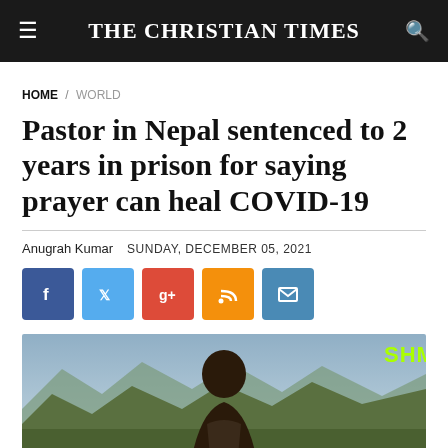THE CHRISTIAN TIMES
HOME / WORLD
Pastor in Nepal sentenced to 2 years in prison for saying prayer can heal COVID-19
Anugrah Kumar   SUNDAY, DECEMBER 05, 2021
[Figure (other): Social media share buttons: Facebook, Twitter, Google+, RSS, Email]
[Figure (photo): Photo of a man outdoors with mountainous landscape in background. SHM watermark in top right corner in bright green text.]